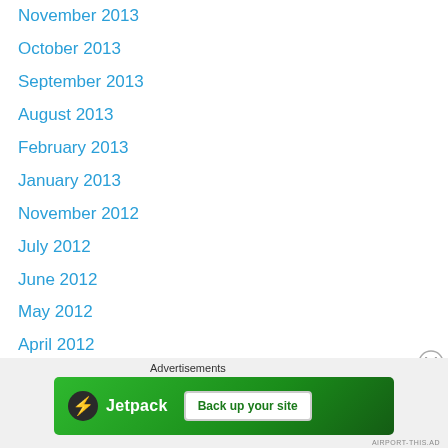November 2013
October 2013
September 2013
August 2013
February 2013
January 2013
November 2012
July 2012
June 2012
May 2012
April 2012
February 2012
January 2012
December 2011
July 2011
June 2011
Advertisements
[Figure (other): Jetpack advertisement banner with logo and 'Back up your site' button]